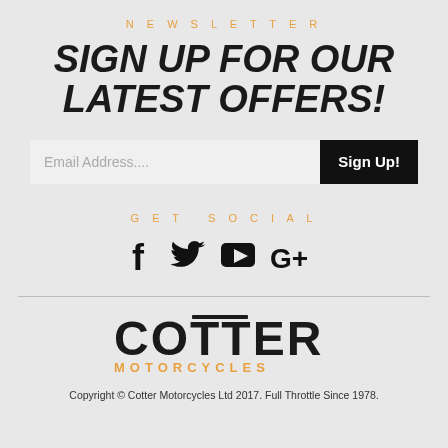NEWSLETTER
SIGN UP FOR OUR LATEST OFFERS!
[Figure (other): Email address input field with Sign Up button]
GET SOCIAL
[Figure (other): Social media icons: Facebook, Twitter, YouTube, Google+]
[Figure (logo): Cotter Motorcycles logo with orange bar accent]
Copyright © Cotter Motorcycles Ltd 2017. Full Throttle Since 1978.